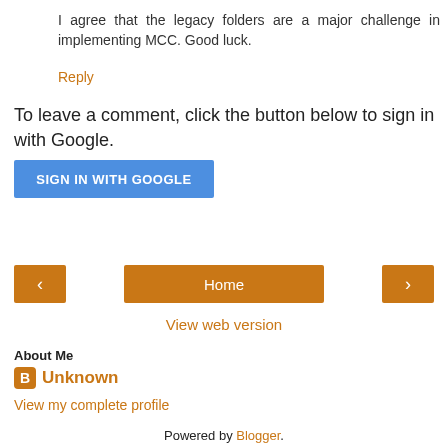I agree that the legacy folders are a major challenge in implementing MCC. Good luck.
Reply
To leave a comment, click the button below to sign in with Google.
[Figure (other): Blue button labeled SIGN IN WITH GOOGLE]
[Figure (other): Navigation bar with left arrow button, Home button, and right arrow button, all in orange/brown color]
View web version
About Me
Unknown
View my complete profile
Powered by Blogger.